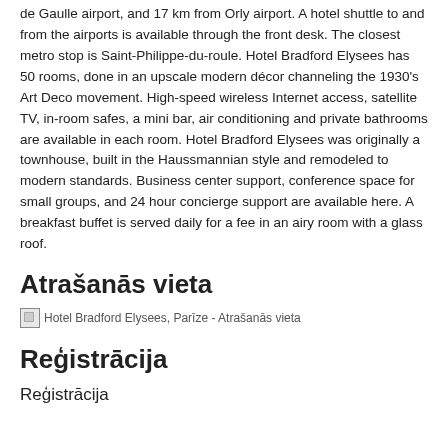de Gaulle airport, and 17 km from Orly airport. A hotel shuttle to and from the airports is available through the front desk. The closest metro stop is Saint-Philippe-du-roule. Hotel Bradford Elysees has 50 rooms, done in an upscale modern décor channeling the 1930's Art Deco movement. High-speed wireless Internet access, satellite TV, in-room safes, a mini bar, air conditioning and private bathrooms are available in each room. Hotel Bradford Elysees was originally a townhouse, built in the Haussmannian style and remodeled to modern standards. Business center support, conference space for small groups, and 24 hour concierge support are available here. A breakfast buffet is served daily for a fee in an airy room with a glass roof.
Atrašanās vieta
[Figure (photo): Hotel Bradford Elysees, Parīze - Atrašanās vieta (broken image placeholder)]
Reģistrācija
Reģistrācija